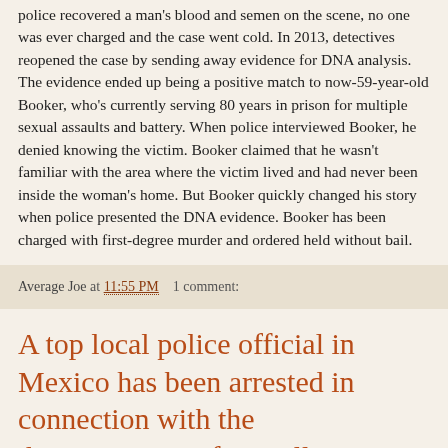police recovered a man's blood and semen on the scene, no one was ever charged and the case went cold. In 2013, detectives reopened the case by sending away evidence for DNA analysis. The evidence ended up being a positive match to now-59-year-old Booker, who's currently serving 80 years in prison for multiple sexual assaults and battery. When police interviewed Booker, he denied knowing the victim. Booker claimed that he wasn't familiar with the area where the victim lived and had never been inside the woman's home. But Booker quickly changed his story when police presented the DNA evidence. Booker has been charged with first-degree murder and ordered held without bail.
Average Joe at 11:55 PM    1 comment:
A top local police official in Mexico has been arrested in connection with the disappearance of 43 college students, authorities said